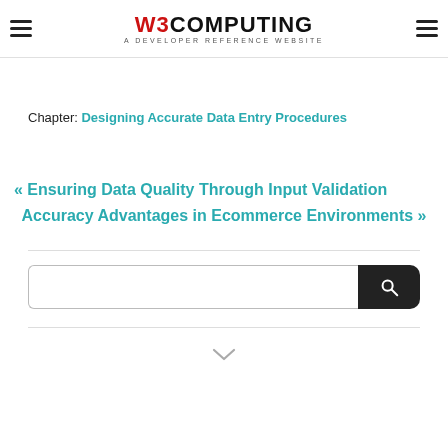W3COMPUTING - A DEVELOPER REFERENCE WEBSITE
Chapter: Designing Accurate Data Entry Procedures
« Ensuring Data Quality Through Input Validation Accuracy Advantages in Ecommerce Environments »